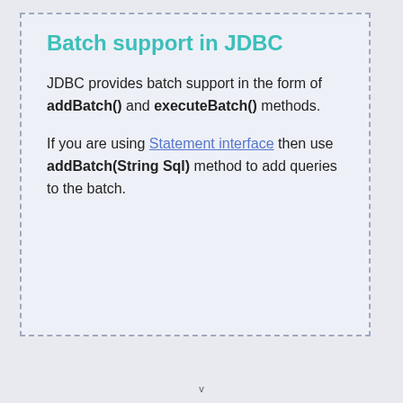Batch support in JDBC
JDBC provides batch support in the form of addBatch() and executeBatch() methods.
If you are using Statement interface then use addBatch(String Sql) method to add queries to the batch.
v